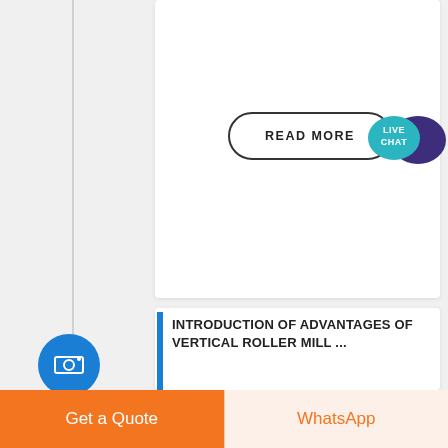account for a substantial part ...
READ MORE
[Figure (other): Live Chat speech bubble icon with teal/dark blue colors]
INTRODUCTION OF ADVANTAGES OF VERTICAL ROLLER MILL ...
[Figure (photo): Industrial machinery/vertical roller mill equipment under cloudy sky]
Get a Quote
WhatsApp